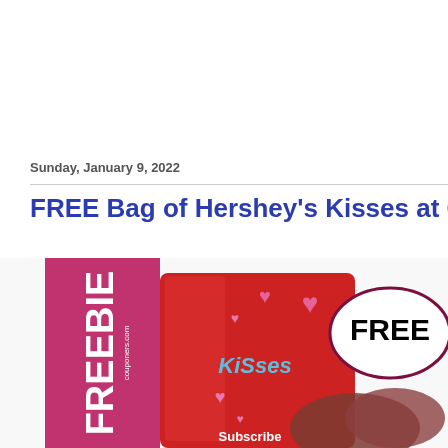Sunday, January 9, 2022
FREE Bag of Hershey's Kisses at CVS 1/9-
[Figure (photo): Promotional image showing a bag of Hershey's Kisses Valentine's Day candy with pink hearts background, a 'FREEBIE' banner on the left side, and a large 'FREE' speech bubble on the right. The image includes text 'couponers.com' and 'Subscribe'.]